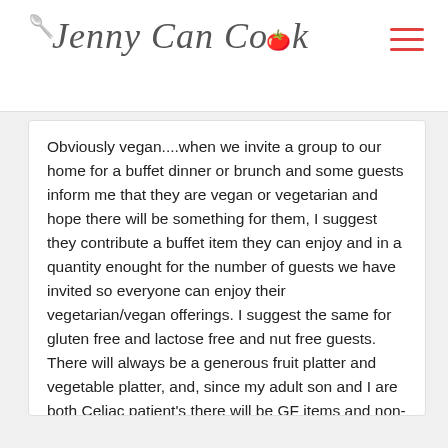Jenny Can Cook
Obviously vegan....when we invite a group to our home for a buffet dinner or brunch and some guests inform me that they are vegan or vegetarian and hope there will be something for them, I suggest they contribute a buffet item they can enjoy and in a quantity enought for the number of guests we have invited so everyone can enjoy their vegetarian/vegan offerings. I suggest the same for gluten free and lactose free and nut free guests. There will always be a generous fruit platter and vegetable platter, and, since my adult son and I are both Celiac patient's there will be GF items and non-gluten free pastries and breads as well. Entertaining has become more complicated in the past 10 years. It makes me become more creative and that's fun!
Reply to this comment